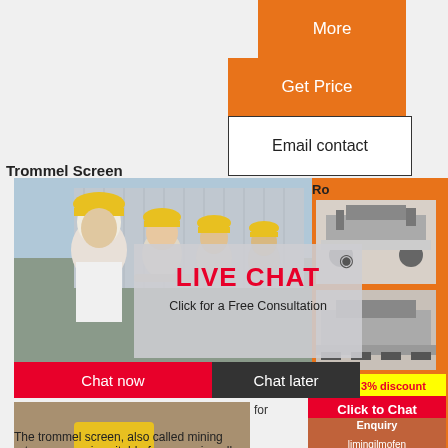More
Get Price
Email contact
Trommel Screen
[Figure (photo): Workers in yellow hard hats with live chat overlay]
LIVE CHAT
Click for a Free Consultation
Chat now
Chat later
[Figure (photo): Mining rotary trommel screen equipment in quarry]
[Figure (photo): Industrial crusher machine]
[Figure (photo): Mobile crusher machine]
Ro
for
Enjoy 3% discount
Click to Chat
Enquiry
limingjlmofen@sina.com
...
The trommel screen, also called mining rotary screen, is suitable for screening all